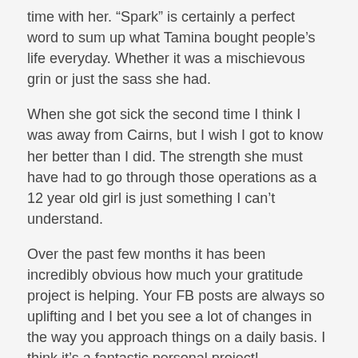time with her. “Spark” is certainly a perfect word to sum up what Tamina bought people’s life everyday. Whether it was a mischievous grin or just the sass she had.
When she got sick the second time I think I was away from Cairns, but I wish I got to know her better than I did. The strength she must have had to go through those operations as a 12 year old girl is just something I can’t understand.
Over the past few months it has been incredibly obvious how much your gratitude project is helping. Your FB posts are always so uplifting and I bet you see a lot of changes in the way you approach things on a daily basis. I think it’s a fantastic personal project!
You never know what life is going to bring you around the corner and that’s the exact reason that we sold our house in late 2009 and early